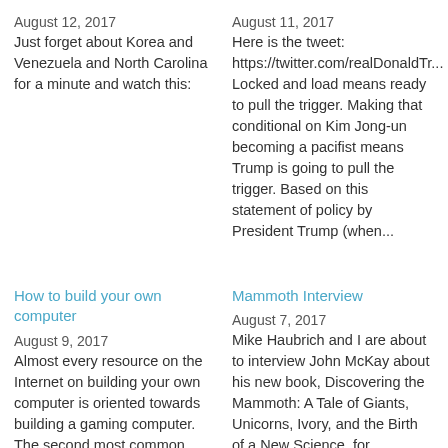August 12, 2017
Just forget about Korea and Venezuela and North Carolina for a minute and watch this:
August 11, 2017
Here is the tweet: https://twitter.com/realDonaldTr... Locked and load means ready to pull the trigger. Making that conditional on Kim Jong-un becoming a pacifist means Trump is going to pull the trigger. Based on this statement of policy by President Trump (when...
How to build your own computer
Mammoth Interview
August 9, 2017
Almost every resource on the Internet on building your own computer is oriented towards building a gaming computer. The second most common discussion is how to build a "budget PC." When I sought
August 7, 2017
Mike Haubrich and I are about to interview John McKay about his new book, Discovering the Mammoth: A Tale of Giants, Unicorns, Ivory, and the Birth of a New Science, for Ikonokast Podcast.